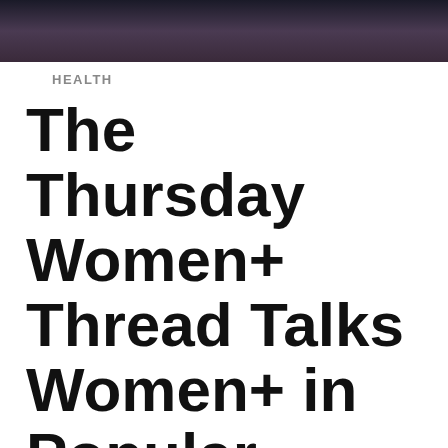[Figure (photo): Cropped photo strip showing dark hair and shoulders, dark/muted tones]
HEALTH
The Thursday Women+ Thread Talks Women+ in Popular Culture
This is a safe space: a space for women+ to come together as we are. All of our wants, needs, thoughts, feelings, experiences, losses, successes etc. are welcome. We are here to support each other during trying times and grief, as well as to celebrate each other. If you are a woman+, you